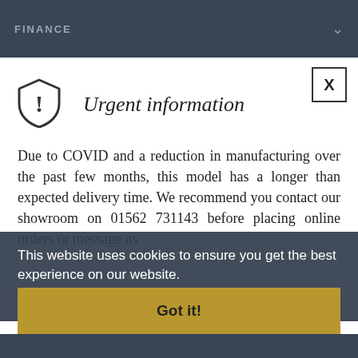FINANCE
Urgent information
Due to COVID and a reduction in manufacturing over the past few months, this model has a longer than expected delivery time. We recommend you contact our showroom on 01562 731143 before placing online orders or message us
This website uses cookies to ensure you get the best experience on our website.
Learn more
CONTINUE SHOPPING
Got it!